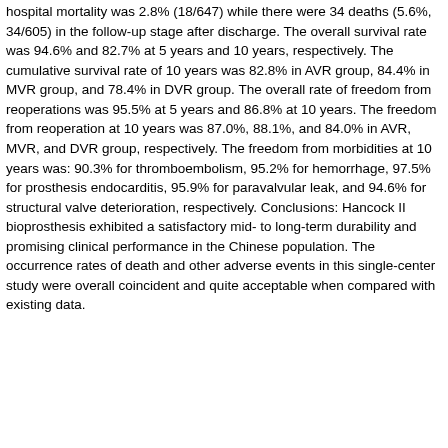hospital mortality was 2.8% (18/647) while there were 34 deaths (5.6%, 34/605) in the follow-up stage after discharge. The overall survival rate was 94.6% and 82.7% at 5 years and 10 years, respectively. The cumulative survival rate of 10 years was 82.8% in AVR group, 84.4% in MVR group, and 78.4% in DVR group. The overall rate of freedom from reoperations was 95.5% at 5 years and 86.8% at 10 years. The freedom from reoperation at 10 years was 87.0%, 88.1%, and 84.0% in AVR, MVR, and DVR group, respectively. The freedom from morbidities at 10 years was: 90.3% for thromboembolism, 95.2% for hemorrhage, 97.5% for prosthesis endocarditis, 95.9% for paravalvular leak, and 94.6% for structural valve deterioration, respectively. Conclusions: Hancock II bioprosthesis exhibited a satisfactory mid- to long-term durability and promising clinical performance in the Chinese population. The occurrence rates of death and other adverse events in this single-center study were overall coincident and quite acceptable when compared with existing data.